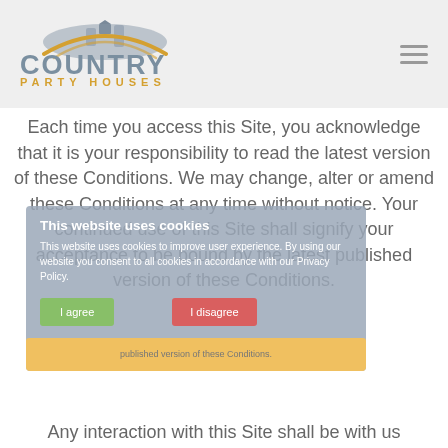[Figure (logo): Country Party Houses logo: house silhouette with trees and orange arc swoosh above text COUNTRY in grey and PARTY HOUSES in orange]
Each time you access this Site, you acknowledge that it is your responsibility to read the latest version of these Conditions. We may change, alter or amend these Conditions at any time without notice. Your continued use of this Site shall signify your acceptance to be bound by the latest published version of these Conditions.
This website uses cookies
This website uses cookies to improve user experience. By using our website you consent to all cookies in accordance with our Privacy Policy.
I agree   I disagree
Any interaction with this Site shall be with us